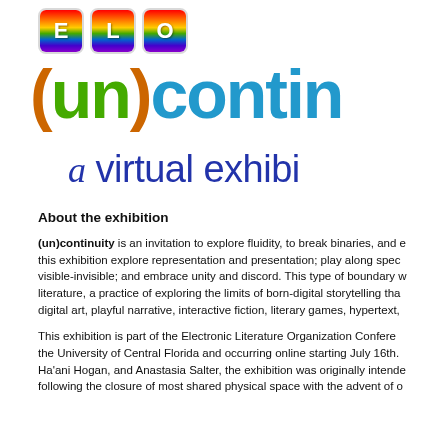[Figure (logo): ELO (un)continuity a virtual exhibition logo with rainbow-colored tiles spelling ELO, large colorful text reading (un)contin... and subtitle 'a virtual exhibi...']
About the exhibition
(un)continuity is an invitation to explore fluidity, to break binaries, and e... this exhibition explore representation and presentation; play along spec... visible-invisible; and embrace unity and discord. This type of boundary w... literature, a practice of exploring the limits of born-digital storytelling tha... digital art, playful narrative, interactive fiction, literary games, hypertext,
This exhibition is part of the Electronic Literature Organization Confere... the University of Central Florida and occurring online starting July 16th. Ha'ani Hogan, and Anastasia Salter, the exhibition was originally intende following the closure of most shared physical space with the advent of o...